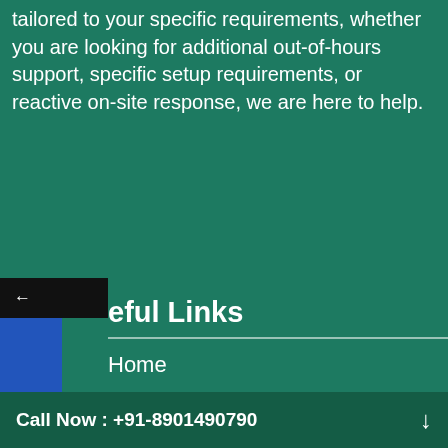tailored to your specific requirements, whether you are looking for additional out-of-hours support, specific setup requirements, or reactive on-site response, we are here to help.
eful Links
Home
About Us
Digital Marketing Service
Web Development Service
Aerospace and Defence
» Automotive
» Heavy Engineering
Call Now : +91-8901490790